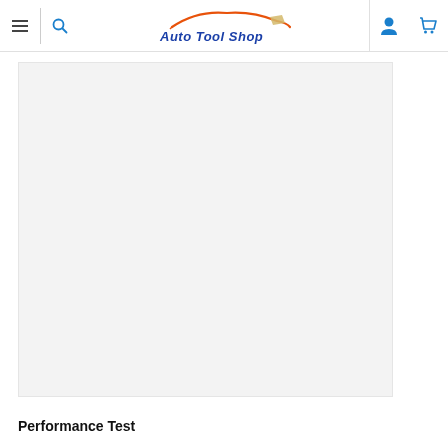Auto Tool Shop
[Figure (photo): Large product image placeholder area with light gray background]
Performance Test